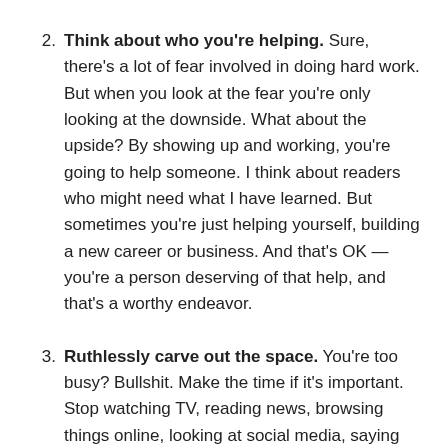2. Think about who you're helping. Sure, there's a lot of fear involved in doing hard work. But when you look at the fear you're only looking at the downside. What about the upside? By showing up and working, you're going to help someone. I think about readers who might need what I have learned. But sometimes you're just helping yourself, building a new career or business. And that's OK — you're a person deserving of that help, and that's a worthy endeavor.
3. Ruthlessly carve out the space. You're too busy? Bullshit. Make the time if it's important. Stop watching TV, reading news, browsing things online, looking at social media, saying